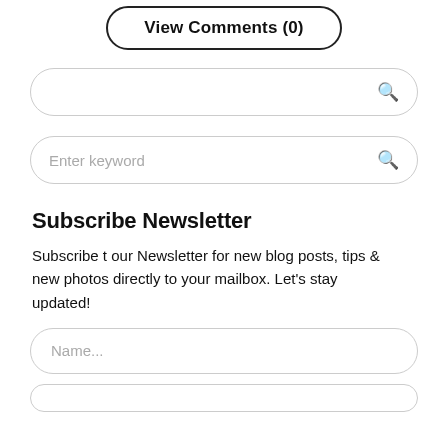[Figure (screenshot): View Comments (0) button with rounded border]
[Figure (screenshot): Empty search bar with search icon]
[Figure (screenshot): Search bar with 'Enter keyword' placeholder and search icon]
Subscribe Newsletter
Subscribe t our Newsletter for new blog posts, tips & new photos directly to your mailbox. Let's stay updated!
[Figure (screenshot): Name input field with 'Name...' placeholder]
[Figure (screenshot): Email input field (partially visible at bottom)]